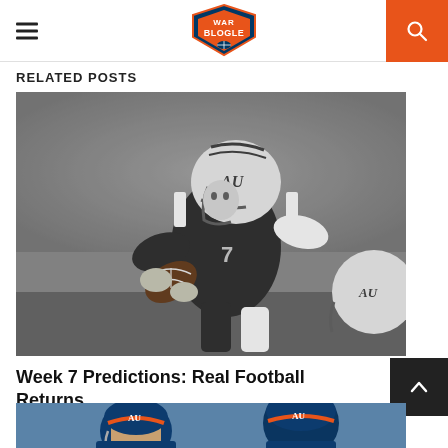War Blogle — navigation header with hamburger menu and search button
RELATED POSTS
[Figure (photo): Black and white vintage photo of Auburn University football player wearing number 7 jersey and AU helmet, running with the football while being tackled]
Week 7 Predictions: Real Football Returns
[Figure (photo): Color photo of Auburn football players in helmets, partial view at bottom of page]